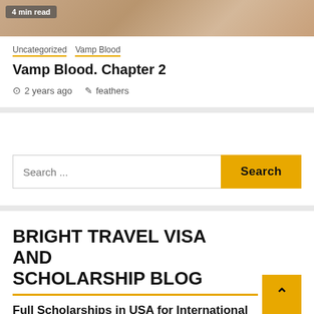[Figure (photo): Partial photo of lace fabric with piano keys, showing a '4 min read' badge overlay]
Uncategorized  Vamp Blood
Vamp Blood. Chapter 2
2 years ago  feathers
Search ...
BRIGHT TRAVEL VISA AND SCHOLARSHIP BLOG
Full Scholarships in USA for International Students 2022/2023